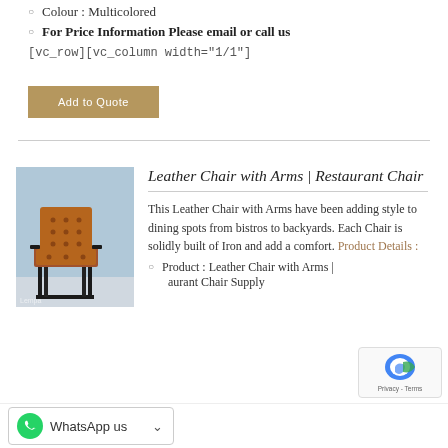Colour : Multicolored
For Price Information Please email or call us
[vc_row][vc_column width="1/1"]
Add to Quote
Leather Chair with Arms | Restaurant Chair
[Figure (photo): Brown leather chair with iron arms and frame (restaurant chair)]
This Leather Chair with Arms have been adding style to dining spots from bistros to backyards. Each Chair is solidly built of Iron and add a comfort. Product Details :
Product : Leather Chair with Arms | Restaurant Chair Supply